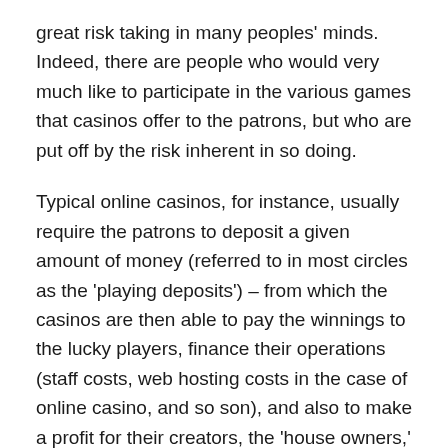great risk taking in many peoples' minds. Indeed, there are people who would very much like to participate in the various games that casinos offer to the patrons, but who are put off by the risk inherent in so doing.
Typical online casinos, for instance, usually require the patrons to deposit a given amount of money (referred to in most circles as the 'playing deposits') – from which the casinos are then able to pay the winnings to the lucky players, finance their operations (staff costs, web hosting costs in the case of online casino, and so son), and also to make a profit for their creators, the 'house owners,' as it were.
The way no deposits casinos work, on the other h[REDACTED] however is through a system where the players d[REDACTED] have to deposit any money with the 'house' to start